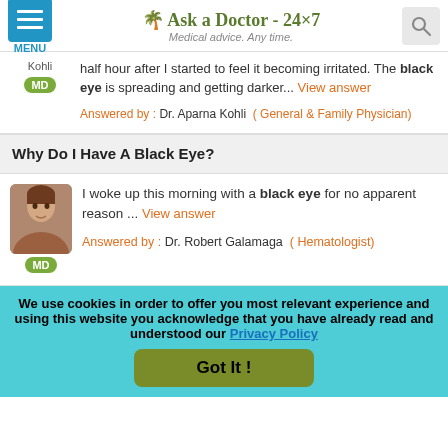Ask a Doctor - 24x7 | Medical advice. Any time.
half hour after I started to feel it becoming irritated. The black eye is spreading and getting darker... View answer
Answered by : Dr. Aparna Kohli ( General & Family Physician)
Why Do I Have A Black Eye?
I woke up this morning with a black eye for no apparent reason ... View answer
Answered by : Dr. Robert Galamaga ( Hematologist)
We use cookies in order to offer you most relevant experience and using this website you acknowledge that you have already read and understood our Privacy Policy
Got It !